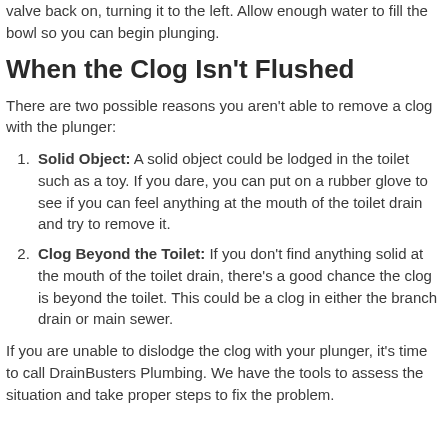valve back on, turning it to the left. Allow enough water to fill the bowl so you can begin plunging.
When the Clog Isn't Flushed
There are two possible reasons you aren't able to remove a clog with the plunger:
Solid Object: A solid object could be lodged in the toilet such as a toy. If you dare, you can put on a rubber glove to see if you can feel anything at the mouth of the toilet drain and try to remove it.
Clog Beyond the Toilet: If you don't find anything solid at the mouth of the toilet drain, there's a good chance the clog is beyond the toilet. This could be a clog in either the branch drain or main sewer.
If you are unable to dislodge the clog with your plunger, it's time to call DrainBusters Plumbing. We have the tools to assess the situation and take proper steps to fix the problem.